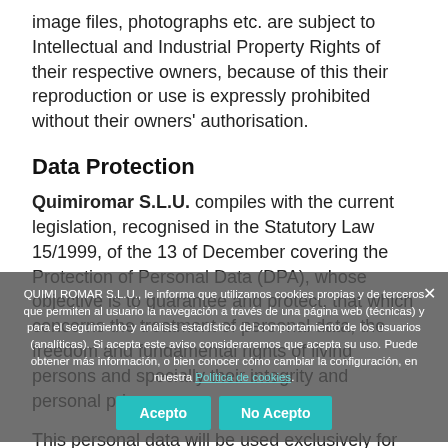image files, photographs etc. are subject to Intellectual and Industrial Property Rights of their respective owners, because of this their reproduction or use is expressly prohibited without their owners' authorisation.
Data Protection
Quimiromar S.L.U. compiles with the current legislation, recognised in the Statutory Law 15/1999, of the 13 of December covering the Protection of Personal Data (DPA), whose objective is to guarantee and protect, that which concerns the treatment of personal data, the freedom and fundamental rights of living persons and specially their integrity and personal privacy.
This personal data will be used exclusively for the purpose the user fills out in the form.
QUIMI ROMAR S.L.U., le informa que utilizamos cookies propias y de terceros que permiten al usuario la navegación a través de una página web (técnicas) y para el seguimiento y análisis estadístico del comportamiento de los usuarios (analíticas). Si acepta este aviso consideraremos que acepta su uso. Puede obtener más información, o bien conocer cómo cambiar la configuración, en nuestra Política de cookies.